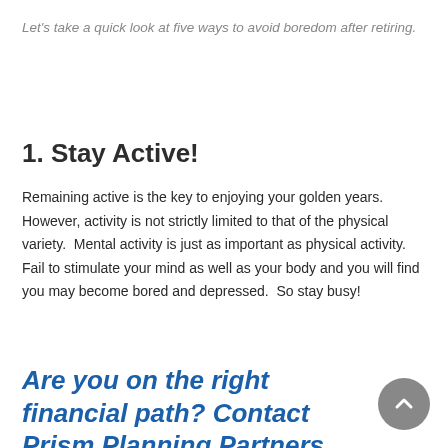Let's take a quick look at five ways to avoid boredom after retiring.
1. Stay Active!
Remaining active is the key to enjoying your golden years. However, activity is not strictly limited to that of the physical variety.  Mental activity is just as important as physical activity. Fail to stimulate your mind as well as your body and you will find you may become bored and depressed.  So stay busy!
Are you on the right financial path? Contact Prism Planning Partners